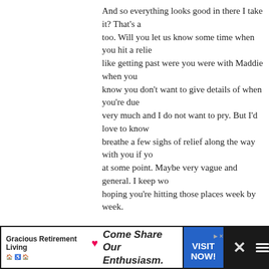And so everything looks good in there I take it? That's a relief too. Will you let us know some time when you hit a relief point, like getting past were you were with Maddie when you — I know you don't want to give details of when you're due — very much and I do not want to pry. But I'd love to know breathe a few sighs of relief along the way with you if you at some point. Maybe very vague and general. I keep wo hoping you're hitting those places week by week.
It really seems as if everything is just going great in there sticks, a normal pregnancy. Oh and the nausea. Dadgun there. We're sending an awful lot of good vibes your wa
> Reply
164. Laurie says:
SEPTEMBER 21ST, 2009 AT 6:56 PM
Yeah for baby girls! She's going to be amazing!
.-= Laurie´s last blog ..Call Me Crazy =-.
> Reply
[Figure (other): Advertisement banner for Gracious Retirement Living with heart logo, 'Come Share Our Enthusiasm.' slogan, VISIT NOW! call to action button, and close/menu controls on dark background]